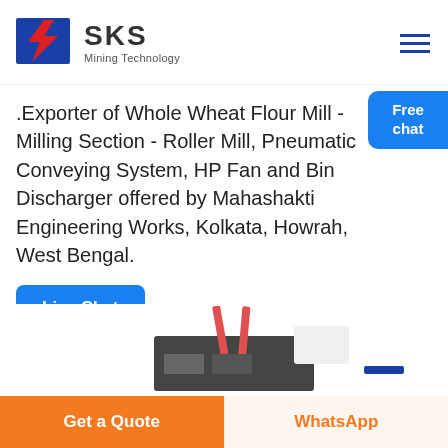[Figure (logo): SKS Mining Technology logo with red and blue lightning bolt icon and bold SKS text]
.Exporter of Whole Wheat Flour Mill - Milling Section - Roller Mill, Pneumatic Conveying System, HP Fan and Bin Discharger offered by Mahashakti Engineering Works, Kolkata, Howrah, West Bengal.
[Figure (other): Free chat bubble widget on the right side]
[Figure (other): Live Chat blue button]
[Figure (photo): Partial product image of milling/conveying equipment at the bottom]
Get a Quote  WhatsApp